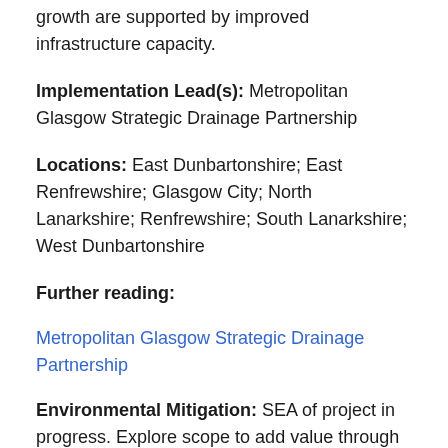growth are supported by improved infrastructure capacity.
Implementation Lead(s): Metropolitan Glasgow Strategic Drainage Partnership
Locations: East Dunbartonshire; East Renfrewshire; Glasgow City; North Lanarkshire; Renfrewshire; South Lanarkshire; West Dunbartonshire
Further reading:
Metropolitan Glasgow Strategic Drainage Partnership
Environmental Mitigation: SEA of project in progress. Explore scope to add value through links with green infrastructure projects.
National Planning Framework 3 Strategic Environmental Assessment (as updated)
National Planning Framework 3 Habitats Regulation